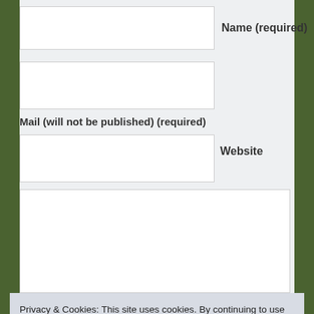Name (required)
Mail (will not be published) (required)
Website
Privacy & Cookies: This site uses cookies. By continuing to use this website, you agree to their use.
To find out more, including how to control cookies, see here: Cookie Policy
Close and accept
Sign me up for your newsletter!